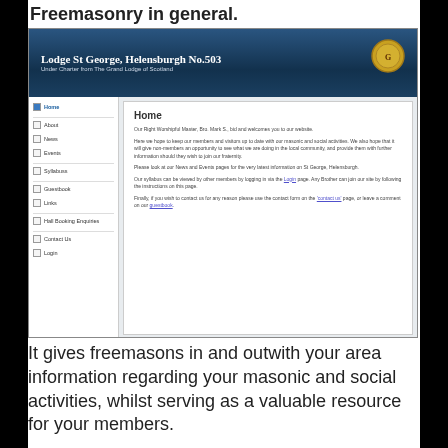Freemasonry in general.
[Figure (screenshot): Screenshot of Lodge St George, Helensburgh No.503 website homepage showing navigation menu and Home page content with welcome text from the Right Worshipful Master, Bro. Mark S.]
It gives freemasons in and outwith your area information regarding your masonic and social activities, whilst serving as a valuable resource for your members.
We believe that a lodge website encourages visitation between Lodges,